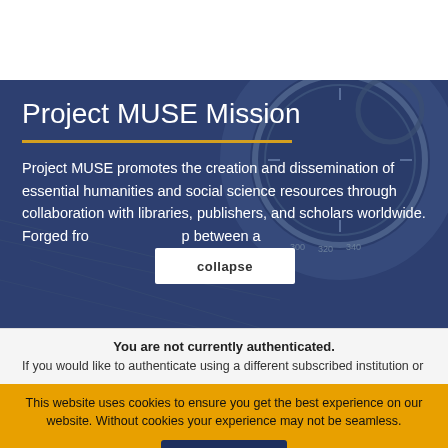Project MUSE Mission
Project MUSE promotes the creation and dissemination of essential humanities and social science resources through collaboration with libraries, publishers, and scholars worldwide. Forged fro… p between a
You are not currently authenticated.
If you would like to authenticate using a different subscribed institution or
This website uses cookies to ensure you get the best experience on our website. Without cookies your experience may not be seamless.